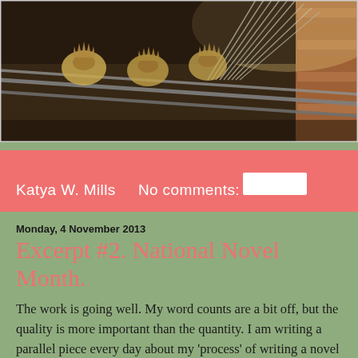[Figure (photo): Photograph of metal rebar/steel bars and decorative cut-metal bird silhouettes on a construction or art installation, with brick wall visible at right edge]
Katya W. Mills    No comments:
Monday, 4 November 2013
Excerpt #2. National Novel Month.
The work is going well. My word counts are a bit off, but the quality is more important than the quantity. I am writing a parallel piece every day about my 'process' of writing a novel this month, and those thoughts can be found @ K IS SILENT. My entries here all month, will be strictly excerpts of the actual novel I am attempting to write. I realize that excerpt #1 had all sorts of